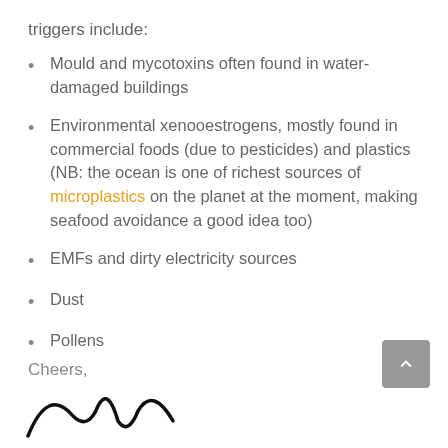triggers include:
Mould and mycotoxins often found in water-damaged buildings
Environmental xenooestrogens, mostly found in commercial foods (due to pesticides) and plastics (NB: the ocean is one of richest sources of microplastics on the planet at the moment, making seafood avoidance a good idea too)
EMFs and dirty electricity sources
Dust
Pollens
Cheers,